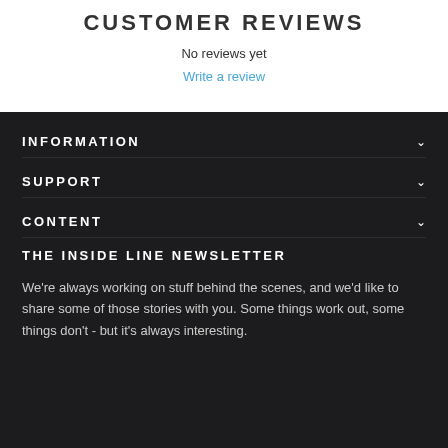CUSTOMER REVIEWS
No reviews yet
Write a review
INFORMATION
SUPPORT
CONTENT
THE INSIDE LINE NEWSLETTER
We're always working on stuff behind the scenes, and we'd like to share some of those stories with you. Some things work out, some things don't - but it's always interesting.